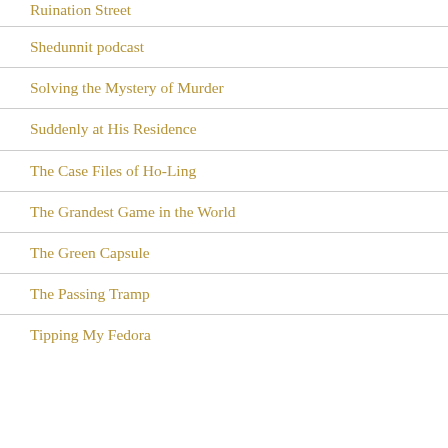Ruination Street
Shedunnit podcast
Solving the Mystery of Murder
Suddenly at His Residence
The Case Files of Ho-Ling
The Grandest Game in the World
The Green Capsule
The Passing Tramp
Tipping My Fedora